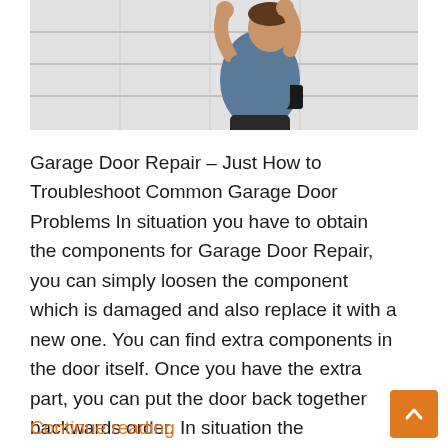[Figure (photo): A man in a blue t-shirt working on a garage door, pressing against the white paneled door surface]
Garage Door Repair – Just How to Troubleshoot Common Garage Door Problems In situation you have to obtain the components for Garage Door Repair, you can simply loosen the component which is damaged and also replace it with a new one. You can find extra components in the door itself. Once you have the extra part, you can put the door back together backwards order. In situation the component is not readily available at home, you can just purchase it ...
Continue reading